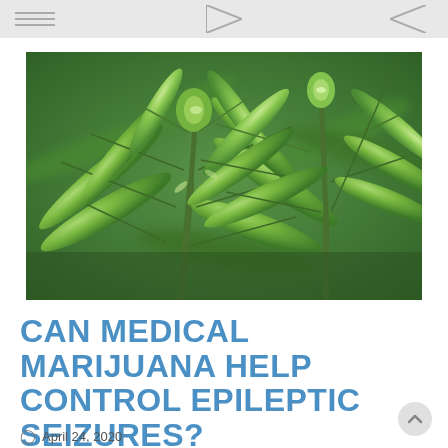navigation bar with icons
[Figure (photo): Close-up photograph of cannabis/marijuana plants with multiple green fan leaves radiating from stems, set against a blurred green background. Two prominent plant tops are visible in focus.]
CAN MEDICAL MARIJUANA HELP CONTROL EPILEPTIC SEIZURES?
April 24, 2020